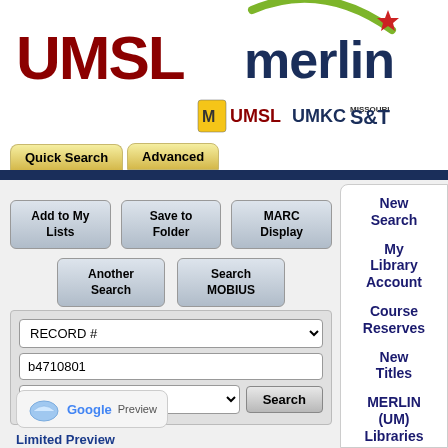[Figure (logo): UMSL logo in dark red bold text]
[Figure (logo): Merlin catalog logo with green swoosh and star, with UMSL, UMKC, Missouri S&T sub-institution logos]
[Figure (screenshot): Quick Search and Advanced navigation tabs]
Add to My Lists
Save to Folder
MARC Display
Another Search
Search MOBIUS
RECORD #
b4710801
UMSL
Search
[Figure (logo): Google Preview button with book icon]
Limited Preview
New Search
My Library Account
Course Reserves
New Titles
MERLIN (UM) Libraries
New